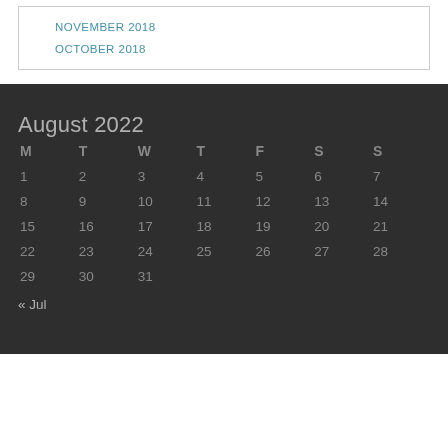NOVEMBER 2018
OCTOBER 2018
August 2022
| M | T | W | T | F | S | S |
| --- | --- | --- | --- | --- | --- | --- |
| 1 | 2 | 3 | 4 | 5 | 6 | 7 |
| 8 | 9 | 10 | 11 | 12 | 13 | 14 |
| 15 | 16 | 17 | 18 | 19 | 20 | 21 |
| 22 | 23 | 24 | 25 | 26 | 27 | 28 |
| 29 | 30 | 31 |  |  |  |  |
« Jul